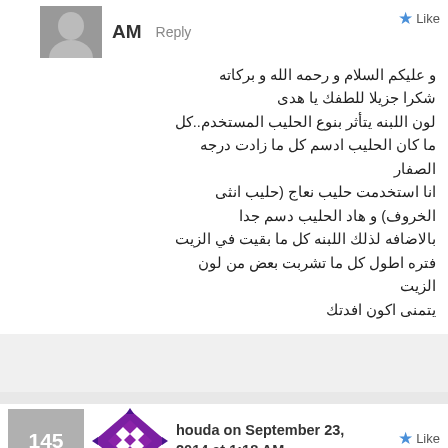AM   Reply
و عليكم السلام و رحمه الله و بركاته
شكرا جزيلا للطفك يا هدى
لون اللبنه يتأثر بنوع الحليب المستخدم..كل ما كان الحليب ادسم كل ما زادت درجه الصفار
انا استخدمت حليب نعاج (حليب انثى الخروف) و هاد الحليب دسم جدا
بالاضافه لذلك اللبنه كل ما بقيت في الزيت فتره اطول كل ما تشربت بعض من لون الزيت
يتمنى اكون افدتك
houda on September 23, 2014 at 1:18 AM
بارك الله فيك
بصراحة انتي اكثر من رائعة
وانا احبك في الله